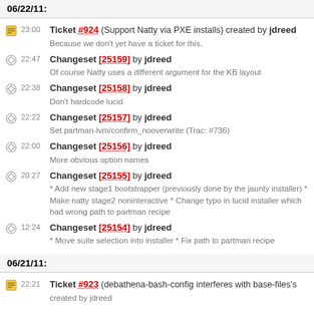06/22/11:
23:00 Ticket #924 (Support Natty via PXE installs) created by jdreed
Because we don't yet have a ticket for this.
22:47 Changeset [25159] by jdreed
Of course Natty uses a different argument for the KB layout
22:38 Changeset [25158] by jdreed
Don't hardcode lucid
22:22 Changeset [25157] by jdreed
Set partman-lvm/confirm_nooverwrite (Trac: #736)
22:00 Changeset [25156] by jdreed
More obvious option names
20:27 Changeset [25155] by jdreed
* Add new stage1 bootstrapper (previously done by the jaunty installer) * Make natty stage2 noninteractive * Change typo in lucid installer which had wrong path to partman recipe
12:24 Changeset [25154] by jdreed
* Move suite selection into installer * Fix path to partman recipe
06/21/11:
22:21 Ticket #923 (debathena-bash-config interferes with base-files's ...)
created by jdreed